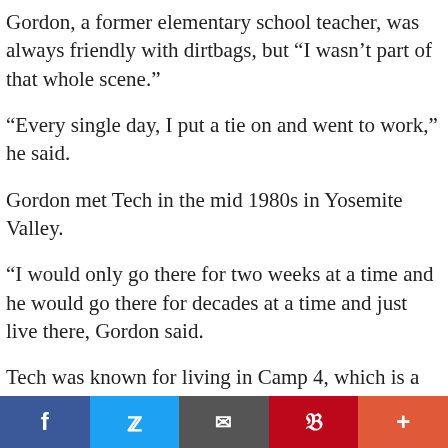Gordon, a former elementary school teacher, was always friendly with dirtbags, but “I wasn’t part of that whole scene.”
“Every single day, I put a tie on and went to work,” he said.
Gordon met Tech in the mid 1980s in Yosemite Valley.
“I would only go there for two weeks at a time and he would go there for decades at a time and just live there, Gordon said.
Tech was known for living in Camp 4, which is a
f  🐦  ✉  p  +